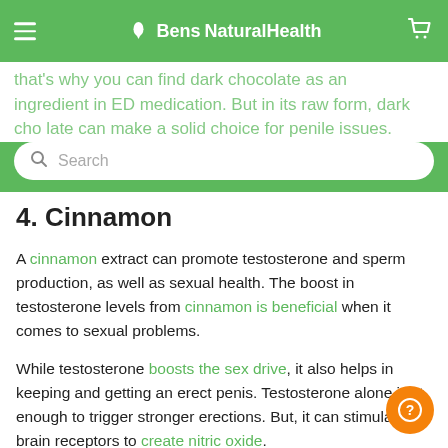BensNaturalHealth
that's why you can find dark chocolate as an ingredient in ED medication. But in its raw form, dark chocolate can make a solid choice for penile issues.
4. Cinnamon
A cinnamon extract can promote testosterone and sperm production, as well as sexual health. The boost in testosterone levels from cinnamon is beneficial when it comes to sexual problems.
While testosterone boosts the sex drive, it also helps in keeping and getting an erect penis. Testosterone alone isn't enough to trigger stronger erections. But, it can stimulate the brain receptors to create nitric oxide.
5. Saffron